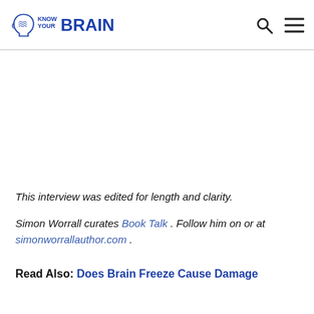Know Your Brain
This interview was edited for length and clarity.
Simon Worrall curates Book Talk . Follow him on or at simonworrallauthor.com .
Read Also: Does Brain Freeze Cause Damage